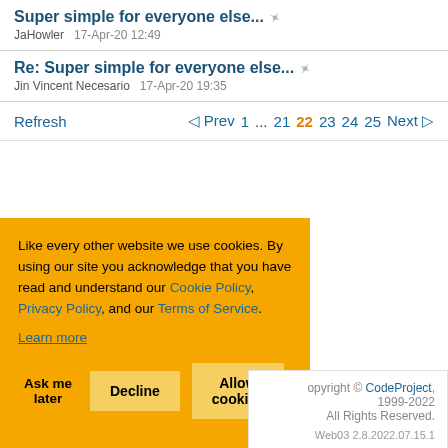Super simple for everyone else...
JaHowler   17-Apr-20 12:49
Re: Super simple for everyone else...
Jin Vincent Necesario   17-Apr-20 19:35
Refresh   ◁ Prev  1  ...  21  22  23  24  25  Next ▷
Like every other website we use cookies. By using our site you acknowledge that you have read and understand our Cookie Policy, Privacy Policy, and our Terms of Service.
Learn more
Ask me later   Decline   Allow cookies
opyright © CodeProject, 1999-2022 All Rights Reserved. Web03 2.8.2022.07.15.1